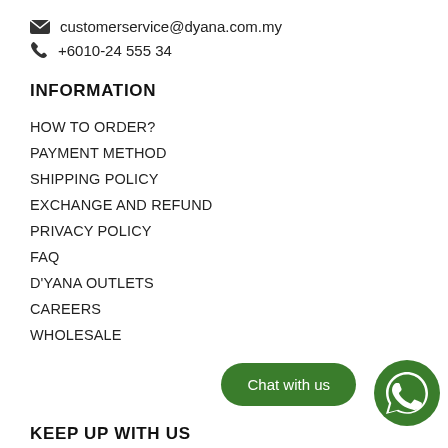customerservice@dyana.com.my
+6010-24 555 34
INFORMATION
HOW TO ORDER?
PAYMENT METHOD
SHIPPING POLICY
EXCHANGE AND REFUND
PRIVACY POLICY
FAQ
D'YANA OUTLETS
CAREERS
WHOLESALE
Chat with us
KEEP UP WITH US